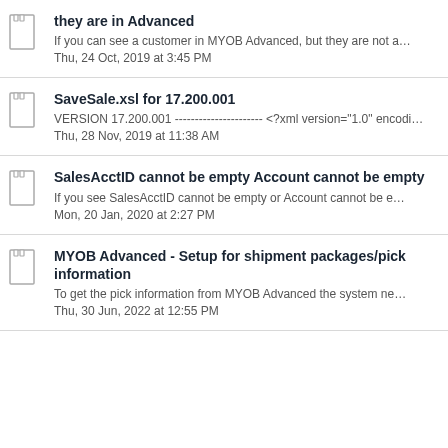they are in Advanced
If you can see a customer in MYOB Advanced, but they are not a...
Thu, 24 Oct, 2019 at 3:45 PM
SaveSale.xsl for 17.200.001
VERSION 17.200.001 ---------------------- <?xml version="1.0" encodi...
Thu, 28 Nov, 2019 at 11:38 AM
SalesAcctID cannot be empty Account cannot be empty
If you see SalesAcctID cannot be empty or Account cannot be e...
Mon, 20 Jan, 2020 at 2:27 PM
MYOB Advanced - Setup for shipment packages/pick information
To get the pick information from MYOB Advanced the system ne...
Thu, 30 Jun, 2022 at 12:55 PM